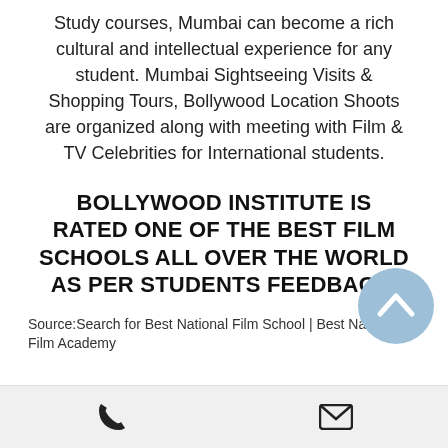Study courses, Mumbai can become a rich cultural and intellectual experience for any student. Mumbai Sightseeing Visits & Shopping Tours, Bollywood Location Shoots are organized along with meeting with Film & TV Celebrities for International students.
BOLLYWOOD INSTITUTE IS RATED ONE OF THE BEST FILM SCHOOLS ALL OVER THE WORLD AS PER STUDENTS FEEDBACK.
Source:Search for Best National Film School | Best National Film Academy
Phone and Email icons